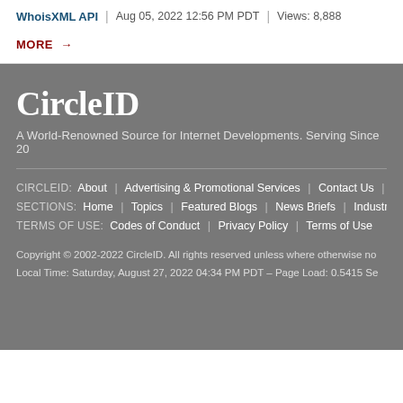WhoisXML API | Aug 05, 2022 12:56 PM PDT | Views: 8,888
MORE →
CircleID
A World-Renowned Source for Internet Developments. Serving Since 20
CIRCLEID: About | Advertising & Promotional Services | Contact Us | News
SECTIONS: Home | Topics | Featured Blogs | News Briefs | Industry Upda
TERMS OF USE: Codes of Conduct | Privacy Policy | Terms of Use
Copyright © 2002-2022 CircleID. All rights reserved unless where otherwise no
Local Time: Saturday, August 27, 2022 04:34 PM PDT – Page Load: 0.5415 Se